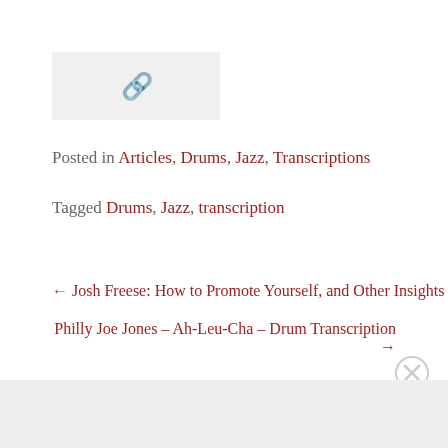[Figure (other): Link/share icon in a light gray box]
Posted in Articles, Drums, Jazz, Transcriptions
Tagged Drums, Jazz, transcription
← Josh Freese: How to Promote Yourself, and Other Insights
Philly Joe Jones – Ah-Leu-Cha – Drum Transcription →
Advertisements
REPORT THIS AD